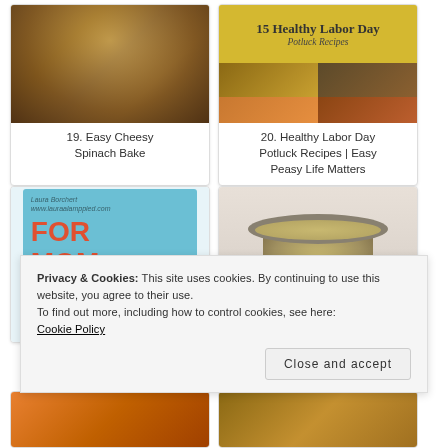[Figure (photo): Close-up photo of Easy Cheesy Spinach Bake, showing golden baked cheese and spinach dish]
19. Easy Cheesy Spinach Bake
[Figure (photo): Collage image for 15 Healthy Labor Day Potluck Recipes with yellow header text and food photos]
20. Healthy Labor Day Potluck Recipes | Easy Peasy Life Matters
[Figure (photo): Book or card cover with text FOR MOM, watermark by Laura Borchert, www.lauraalamppied.com]
[Figure (photo): Bowl of clear broth soup with rosemary garnish, on light background with spoon]
Privacy & Cookies: This site uses cookies. By continuing to use this website, you agree to their use.
To find out more, including how to control cookies, see here:
Cookie Policy
Close and accept
[Figure (photo): Partial view of food photo at bottom left]
[Figure (photo): Partial view of food photo at bottom right]